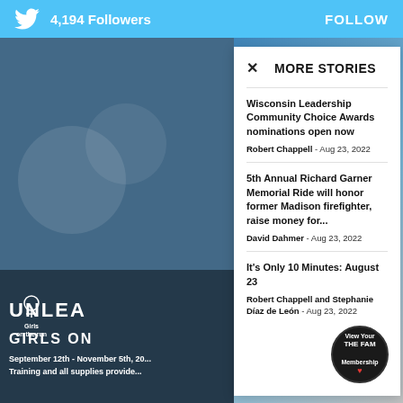4,194  Followers   FOLLOW
MORE STORIES
Wisconsin Leadership Community Choice Awards nominations open now
Robert Chappell - Aug 23, 2022
5th Annual Richard Garner Memorial Ride will honor former Madison firefighter, raise money for...
David Dahmer - Aug 23, 2022
It's Only 10 Minutes: August 23
Robert Chappell and Stephanie Díaz de León - Aug 23, 2022
[Figure (screenshot): Girls on the Run promotional poster background with text UNLEA and GIRLS ON visible, overlaid by a white modal popup showing more stories]
September 12th - November 5th, 20...
Training and all supplies provide...